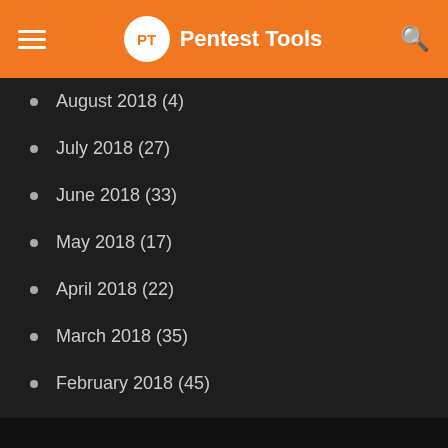PT Pentest Tools
August 2018 (4)
July 2018 (27)
June 2018 (33)
May 2018 (17)
April 2018 (22)
March 2018 (35)
February 2018 (45)
January 2018 (58)
December 2017 (144)
November 2017 (106)
October 2017 (184)